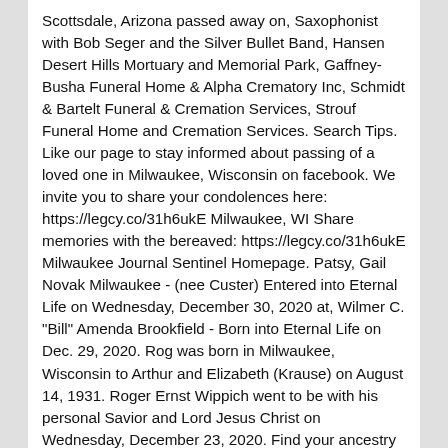Scottsdale, Arizona passed away on, Saxophonist with Bob Seger and the Silver Bullet Band, Hansen Desert Hills Mortuary and Memorial Park, Gaffney-Busha Funeral Home & Alpha Crematory Inc, Schmidt & Bartelt Funeral & Cremation Services, Strouf Funeral Home and Cremation Services. Search Tips. Like our page to stay informed about passing of a loved one in Milwaukee, Wisconsin on facebook. We invite you to share your condolences here: https://legcy.co/31h6ukE Milwaukee, WI Share memories with the bereaved: https://legcy.co/31h6ukE Milwaukee Journal Sentinel Homepage. Patsy, Gail Novak Milwaukee - (nee Custer) Entered into Eternal Life on Wednesday, December 30, 2020 at, Wilmer C. "Bill" Amenda Brookfield - Born into Eternal Life on Dec. 29, 2020. Rog was born in Milwaukee, Wisconsin to Arthur and Elizabeth (Krause) on August 14, 1931. Roger Ernst Wippich went to be with his personal Savior and Lord Jesus Christ on Wednesday, December 23, 2020. Find your ancestry info and recent death notices for relatives and friends. Search Milwaukee obituaries and condolences, hosted by Echovita.com.